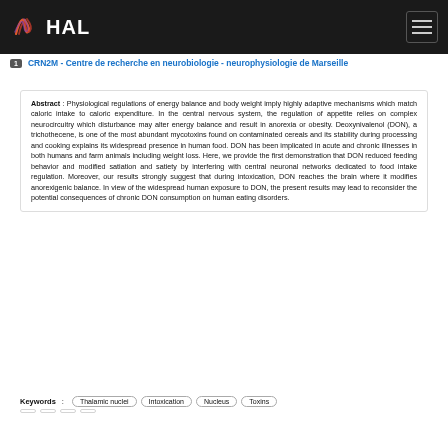HAL
1  CRN2M - Centre de recherche en neurobiologie - neurophysiologie de Marseille
Abstract : Physiological regulations of energy balance and body weight imply highly adaptive mechanisms which match caloric intake to caloric expenditure. In the central nervous system, the regulation of appetite relies on complex neurocircuitry which disturbance may alter energy balance and result in anorexia or obesity. Deoxynivalenol (DON), a trichothecene, is one of the most abundant mycotoxins found on contaminated cereals and its stability during processing and cooking explains its widespread presence in human food. DON has been implicated in acute and chronic illnesses in both humans and farm animals including weight loss. Here, we provide the first demonstration that DON reduced feeding behavior and modified satiation and satiety by interfering with central neuronal networks dedicated to food intake regulation. Moreover, our results strongly suggest that during intoxication, DON reaches the brain where it modifies anorexigenic balance. In view of the widespread human exposure to DON, the present results may lead to reconsider the potential consequences of chronic DON consumption on human eating disorders.
Keywords : Thalamic nuclei  Intoxication  Nucleus  Toxins